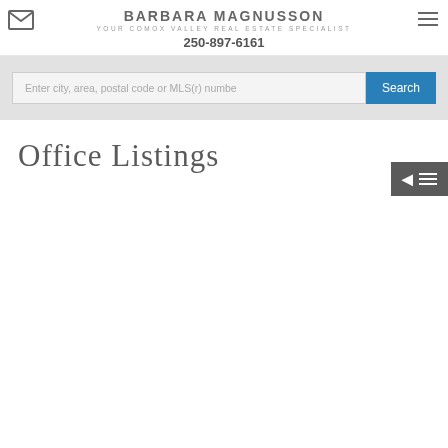BARBARA MAGNUSSON
YOUR COMOX VALLEY REAL ESTATE SPECIALIST
250-897-6161
Enter city, area, postal code or MLS(r) numbe
Office Listings